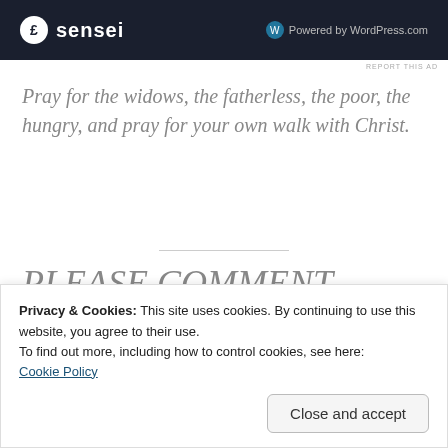[Figure (screenshot): Dark navy ad banner with 'sensei' logo on left and 'Powered by WordPress.com' on right]
REPORT THIS AD
Pray for the widows, the fatherless, the poor, the hungry, and pray for your own walk with Christ.
PLEASE COMMENT BELOW:
If you would like your request updated,
Privacy & Cookies: This site uses cookies. By continuing to use this website, you agree to their use.
To find out more, including how to control cookies, see here:
Cookie Policy
Close and accept